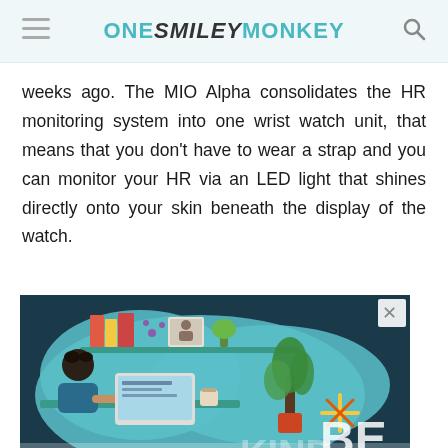ONE SMILEY MONKEY
weeks ago. The MIO Alpha consolidates the HR monitoring system into one wrist watch unit, that means that you don't have to wear a strap and you can monitor your HR via an LED light that shines directly onto your skin beneath the display of the watch.
[Figure (illustration): Advertisement illustration showing a person working at a laptop at a desk, with bookshelves, a plant, and decorative items in the background. Text reads 'BE KIND' in large letters. An X close button is visible in the top right corner of the ad. A teal heart/favorite button with count '1' appears on the right side.]